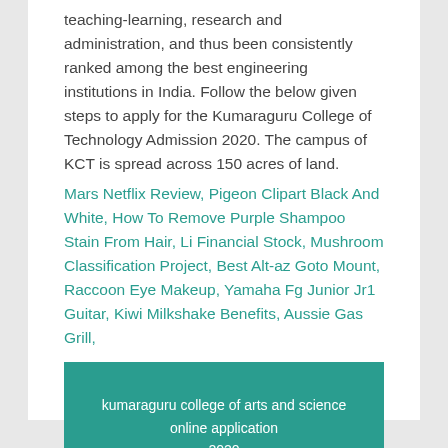teaching-learning, research and administration, and thus been consistently ranked among the best engineering institutions in India. Follow the below given steps to apply for the Kumaraguru College of Technology Admission 2020. The campus of KCT is spread across 150 acres of land.
Mars Netflix Review, Pigeon Clipart Black And White, How To Remove Purple Shampoo Stain From Hair, Li Financial Stock, Mushroom Classification Project, Best Alt-az Goto Mount, Raccoon Eye Makeup, Yamaha Fg Junior Jr1 Guitar, Kiwi Milkshake Benefits, Aussie Gas Grill,
kumaraguru college of arts and science online application 2020